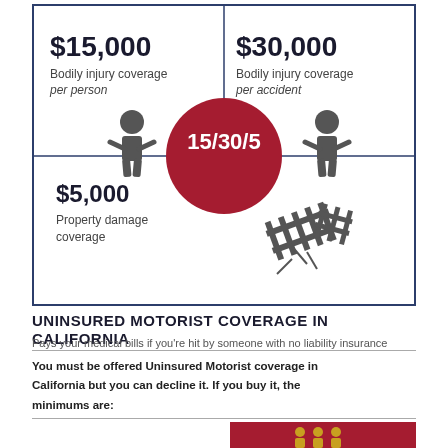[Figure (infographic): Insurance coverage infographic showing 15/30/5 coverage amounts. Four-quadrant grid with a red circle in center labeled 15/30/5. Top-left: $15,000 Bodily injury coverage per person with person icon. Top-right: $30,000 Bodily injury coverage per accident with person icon. Bottom-left: $5,000 Property damage coverage with fence/damage icon.]
UNINSURED MOTORIST COVERAGE IN CALIFORNIA
Pays your medical bills if you're hit by someone with no liability insurance
You must be offered Uninsured Motorist coverage in California but you can decline it. If you buy it, the minimums are:
[Figure (infographic): Partial red box visible at bottom right with people icons, beginning of another coverage section]